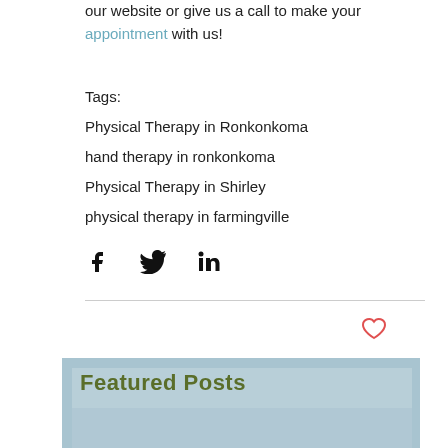our website or give us a call to make your appointment with us!
Tags:
Physical Therapy in Ronkonkoma
hand therapy in ronkonkoma
Physical Therapy in Shirley
physical therapy in farmingville
[Figure (other): Social share buttons: Facebook, Twitter, LinkedIn icons]
Featured Posts